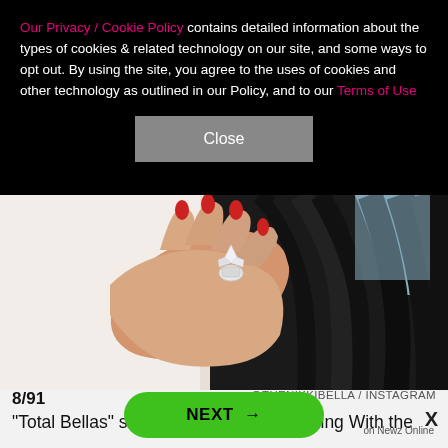Our Privacy / Cookie Policy contains detailed information about the types of cookies & related technology on our site, and some ways to opt out. By using the site, you agree to the uses of cookies and other technology as outlined in our Policy, and to our Terms of Use
Close
[Figure (photo): Close-up photo of a woman's hand with red nail polish wearing a large diamond engagement ring, resting against dark hair, white clothing in background.]
8/91
@THENIKKIBELLA / INSTAGRAM
"Total Bellas" star Nikki Bella and "Dancing With the
X
NEXT →
on Newz Online